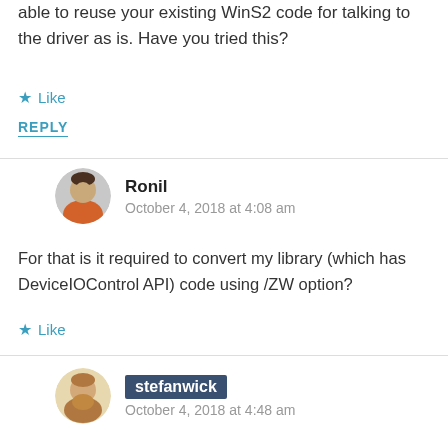able to reuse your existing WinS2 code for talking to the driver as is. Have you tried this?
★ Like
REPLY
Ronil
October 4, 2018 at 4:08 am
For that is it required to convert my library (which has DeviceIOControl API) code using /ZW option?
★ Like
stefanwick
October 4, 2018 at 4:48 am